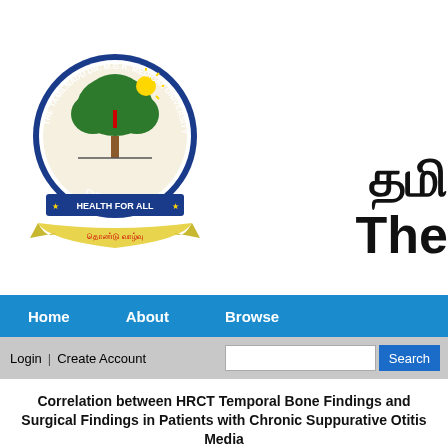[Figure (logo): Tamilnadu Dr. M.G.R. Medical University, Chennai - circular emblem with tree, sun, and 'Health For All' banner with Tamil script ribbon below]
தமி
The
Home   About   Browse
Login | Create Account    Search
Correlation between HRCT Temporal Bone Findings and Surgical Findings in Patients with Chronic Suppurative Otitis Media
Soumya Raja, (2013) Correlation between HRCT Temporal Bone Findings